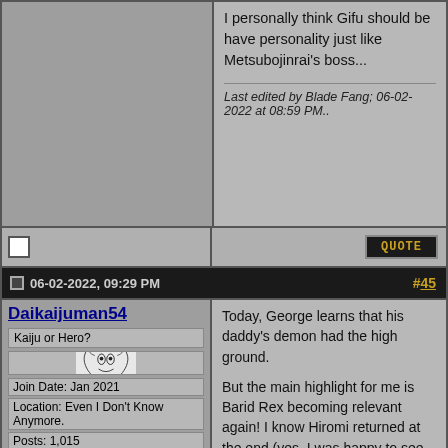I personally think Gifu should be have personality just like Metsubojinrai's boss...
Last edited by Blade Fang; 06-02-2022 at 08:59 PM..
06-02-2022, 09:29 PM
#45
Daikaijuman54
Kaiju or Hero?
[Figure (illustration): Avatar image: black and white line drawing of a dragon-like creature/kaiju]
Join Date: Jan 2021
Location: Even I Don't Know Anymore.
Posts: 1,015
Today, George learns that his daddy's demon had the high ground.

But the main highlight for me is Barid Rex becoming relevant again! I know Hiromi returned at the end (yes, I was happy to see him again, but I wouldn't have minded if he actually died), but seeing an old powerup form show up again, especially one with a better color scheme than the current one, was just very nice to see.

Again, I've gotten used to Over Demons' design (not a bad design, just